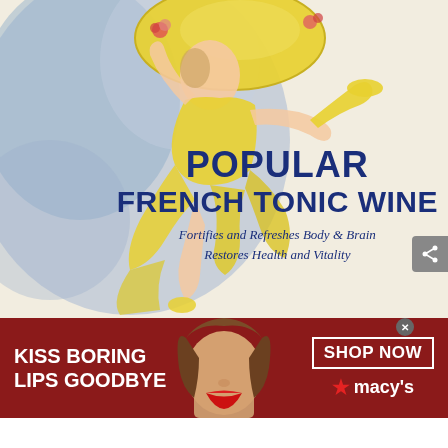[Figure (illustration): Vintage French poster art: a woman in a yellow dress and large yellow hat dancing/leaping, with blue watercolor wash background. Bold navy blue text reads 'POPULAR FRENCH TONIC WINE' with italic taglines 'Fortifies and Refreshes Body & Brain / Restores Health and Vitality']
[Figure (photo): Macy's advertisement banner with dark red background. Left: white bold text 'KISS BORING LIPS GOODBYE'. Center: cropped photo of woman with red lips and brown hair. Right: white bordered 'SHOP NOW' button and Macy's logo with red star.]